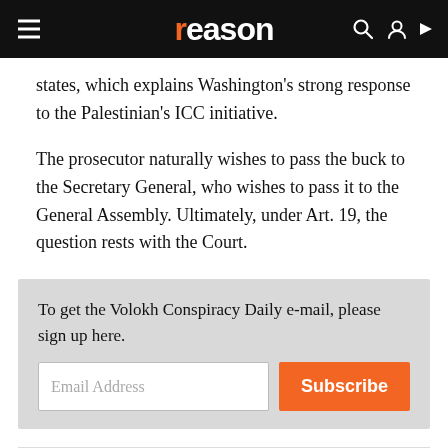reason
states, which explains Washington's strong response to the Palestinian's ICC initiative.
The prosecutor naturally wishes to pass the buck to the Secretary General, who wishes to pass it to the General Assembly. Ultimately, under Art. 19, the question rests with the Court.
To get the Volokh Conspiracy Daily e-mail, please sign up here.
NEXT: Muslim hero of attack on kosher